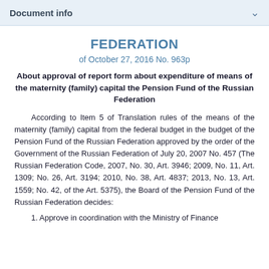Document info
FEDERATION
of October 27, 2016 No. 963p
About approval of report form about expenditure of means of the maternity (family) capital the Pension Fund of the Russian Federation
According to Item 5 of Translation rules of the means of the maternity (family) capital from the federal budget in the budget of the Pension Fund of the Russian Federation approved by the order of the Government of the Russian Federation of July 20, 2007 No. 457 (The Russian Federation Code, 2007, No. 30, Art. 3946; 2009, No. 11, Art. 1309; No. 26, Art. 3194; 2010, No. 38, Art. 4837; 2013, No. 13, Art. 1559; No. 42, of the Art. 5375), the Board of the Pension Fund of the Russian Federation decides:
1. Approve in coordination with the Ministry of Finance